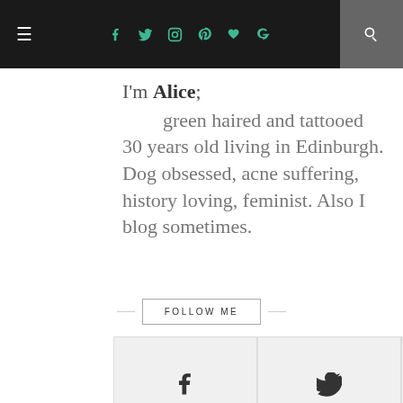Navigation bar with hamburger menu, social icons (Facebook, Twitter, Instagram, Pinterest, Bloglovin, Google+), and search
I'm Alice;

     green haired and tattooed 30 years old living in Edinburgh. Dog obsessed, acne suffering, history loving, feminist. Also I blog sometimes.
FOLLOW ME
[Figure (infographic): 3x2 grid of social media follow buttons: Facebook, Twitter, Instagram (row 1), Pinterest, Bloglovin, YouTube (row 2), each with icon and label]